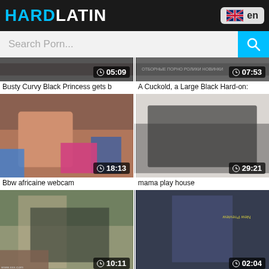HARDLATIN
Search Porn...
[Figure (screenshot): Video thumbnail - Busty Curvy Black Princess, duration 05:09]
Busty Curvy Black Princess gets b
[Figure (screenshot): Video thumbnail - A Cuckold a Large Black Hard-on, duration 07:53]
A Cuckold, a Large Black Hard-on:
[Figure (screenshot): Video thumbnail - Bbw africaine webcam, duration 18:13]
Bbw africaine webcam
[Figure (screenshot): Video thumbnail - mama play house, duration 29:21]
mama play house
[Figure (screenshot): Video thumbnail - Carmen Carlos Takes A Big Ebony, duration 10:11]
Carmen Carlos Takes A Big Ebony
[Figure (screenshot): Video thumbnail - lush black woman fucked, duration 02:04]
lush black woman fucked